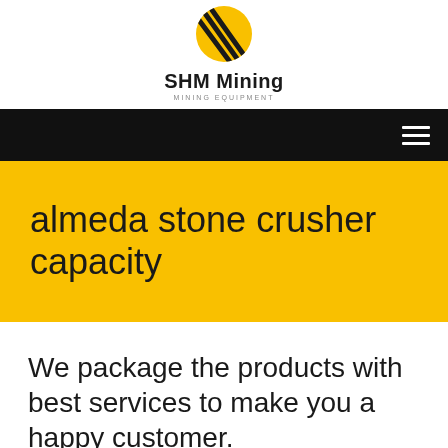[Figure (logo): SHM Mining logo: yellow circle with black diagonal stripe lines, bold text 'SHM Mining' below, subtitle 'MINING EQUIPMENT' in grey caps]
SHM Mining · MINING EQUIPMENT
almeda stone crusher capacity
We package the products with best services to make you a happy customer.